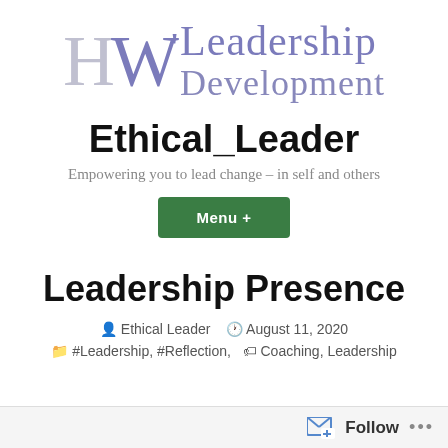[Figure (logo): HW Leadership Development logo with stylized H and W letters in grey/purple and text 'Leadership Development' in purple-grey]
Ethical_Leader
Empowering you to lead change – in self and others
Menu +
Leadership Presence
Ethical Leader  August 11, 2020
#Leadership, #Reflection,  Coaching, Leadership
Follow  •••